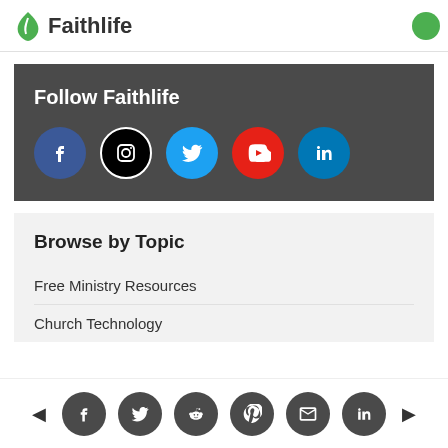Faithlife
Follow Faithlife
[Figure (infographic): Social media icons: Facebook (blue), Instagram (black), Twitter (blue), YouTube (red), LinkedIn (blue)]
Browse by Topic
Free Ministry Resources
Church Technology
Social share bar: Facebook, Twitter, Reddit, Pinterest, Email, LinkedIn